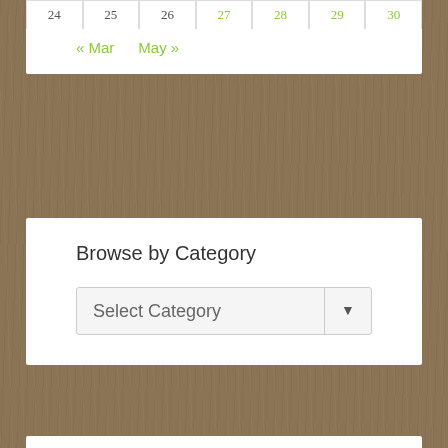| 24 | 25 | 26 | 27 | 28 | 29 | 30 |
« Mar   May »
Browse by Category
Select Category
Recent Posts Just For You
Why There Is No Way to Know March 8, 2022
Fire This Time December 13, 2021
Otis Redding Memorial Madison Wisconsin